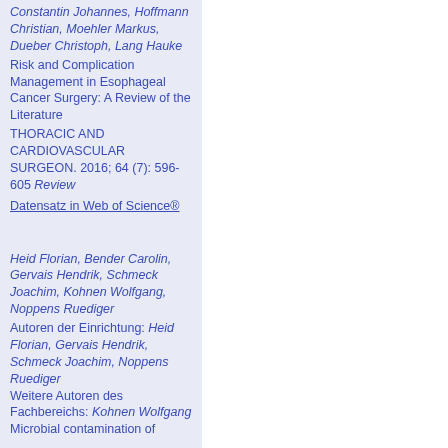Constantin Johannes, Hoffmann Christian, Moehler Markus, Dueber Christoph, Lang Hauke
Risk and Complication Management in Esophageal Cancer Surgery: A Review of the Literature
THORACIC AND CARDIOVASCULAR SURGEON. 2016; 64 (7): 596-605 Review
Datensatz in Web of Science®
Heid Florian, Bender Carolin, Gervais Hendrik, Schmeck Joachim, Kohnen Wolfgang, Noppens Ruediger
Autoren der Einrichtung: Heid Florian, Gervais Hendrik, Schmeck Joachim, Noppens Ruediger
Weitere Autoren des Fachbereichs: Kohnen Wolfgang
Microbial contamination of